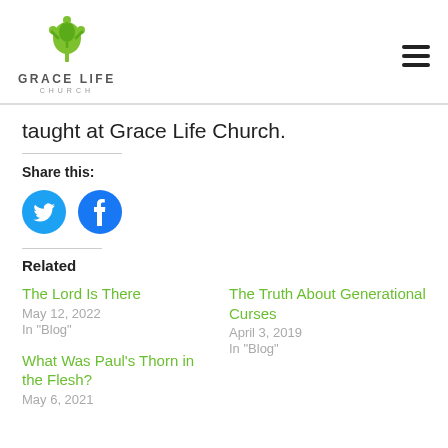[Figure (logo): Grace Life Church logo: green tree with person figure, text GRACE LIFE CHURCH below]
taught at Grace Life Church.
Share this:
[Figure (illustration): Twitter and Facebook share icon buttons (blue circles)]
Related
The Lord Is There
May 12, 2022
In "Blog"
The Truth About Generational Curses
April 3, 2019
In "Blog"
What Was Paul's Thorn in the Flesh?
May 6, 2021